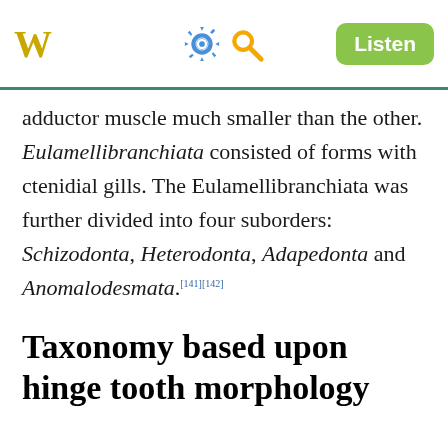W [gear] [search] Listen
adductor muscle much smaller than the other. Eulamellibranchiata consisted of forms with ctenidial gills. The Eulamellibranchiata was further divided into four suborders: Schizodonta, Heterodonta, Adapedonta and Anomalodesmata.[141][142]
Taxonomy based upon hinge tooth morphology